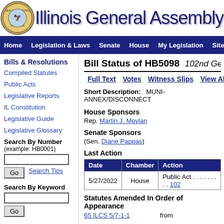[Figure (logo): Illinois state seal circular emblem]
Illinois General Assembly
Home | Legislation & Laws | Senate | House | My Legislation | Site Map
Bills & Resolutions
Compiled Statutes
Public Acts
Legislative Reports
IL Constitution
Legislative Guide
Legislative Glossary
Search By Number (example: HB0001)
Search By Keyword
Bill Status of HB5098   102nd General Assembly
Full Text   Votes   Witness Slips   View All Actions
Short Description:   MUNI-ANNEX/DISCONNECT
House Sponsors
Rep. Martin J. Moylan
Senate Sponsors
(Sen. Diane Pappas)
Last Action
| Date | Chamber | Action |
| --- | --- | --- |
| 5/27/2022 | House | Public Act . . . . . . . . .  102 |
Statutes Amended In Order of Appearance
65 ILCS 5/7-1-1   from